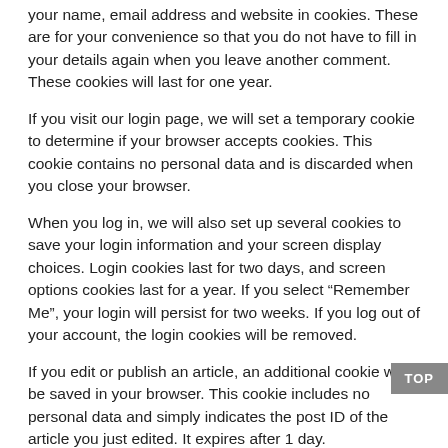your name, email address and website in cookies. These are for your convenience so that you do not have to fill in your details again when you leave another comment. These cookies will last for one year.
If you visit our login page, we will set a temporary cookie to determine if your browser accepts cookies. This cookie contains no personal data and is discarded when you close your browser.
When you log in, we will also set up several cookies to save your login information and your screen display choices. Login cookies last for two days, and screen options cookies last for a year. If you select “Remember Me”, your login will persist for two weeks. If you log out of your account, the login cookies will be removed.
If you edit or publish an article, an additional cookie will be saved in your browser. This cookie includes no personal data and simply indicates the post ID of the article you just edited. It expires after 1 day.